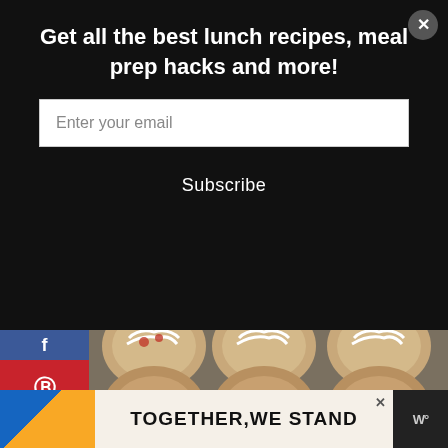Get all the best lunch recipes, meal prep hacks and more!
Enter your email
Subscribe
[Figure (photo): A muffin tin with 12 glazed muffins topped with white icing drizzle, viewed from above]
[Figure (infographic): Social media share sidebar with Facebook, Pinterest, Twitter, and Email buttons]
[Figure (infographic): Advertisement banner with colorful blocks and text 'TOGETHER, WE STAND']